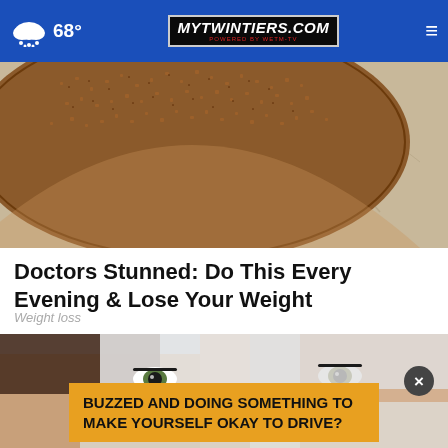68° MYTWINTIERS.COM
[Figure (photo): Close-up photo of a round disc of brown coffee or spice powder/granules on a light stone surface]
Doctors Stunned: Do This Every Evening & Lose Your Weight
Weight loss
[Figure (photo): Close-up photo of a person's eyes wearing a white face mask/headband, with a golden advertisement overlay reading 'BUZZED AND DOING SOMETHING TO MAKE YOURSELF OKAY TO DRIVE?']
BUZZED AND DOING SOMETHING TO MAKE YOURSELF OKAY TO DRIVE?